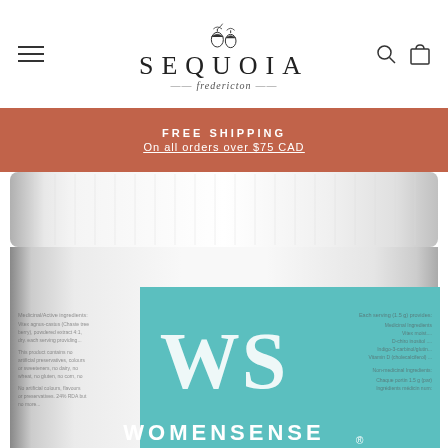[Figure (logo): Sequoia Fredericton store logo with acorn icon and decorative script]
FREE SHIPPING
On all orders over $75 CAD
[Figure (photo): Close-up photo of a WomenSense supplement jar with white ridged lid and teal label showing 'WS' letters and 'WOMENSENSE' branding]